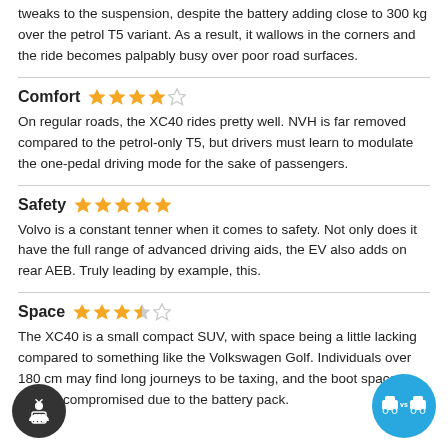tweaks to the suspension, despite the battery adding close to 300 kg over the petrol T5 variant. As a result, it wallows in the corners and the ride becomes palpably busy over poor road surfaces.
Comfort ★★★★☆
On regular roads, the XC40 rides pretty well. NVH is far removed compared to the petrol-only T5, but drivers must learn to modulate the one-pedal driving mode for the sake of passengers.
Safety ★★★★★
Volvo is a constant tenner when it comes to safety. Not only does it have the full range of advanced driving aids, the EV also adds on rear AEB. Truly leading by example, this.
Space ★★★½☆
The XC40 is a small compact SUV, with space being a little lacking compared to something like the Volkswagen Golf. Individuals over 180 cm may find long journeys to be taxing, and the boot space is slightly compromised due to the battery pack.